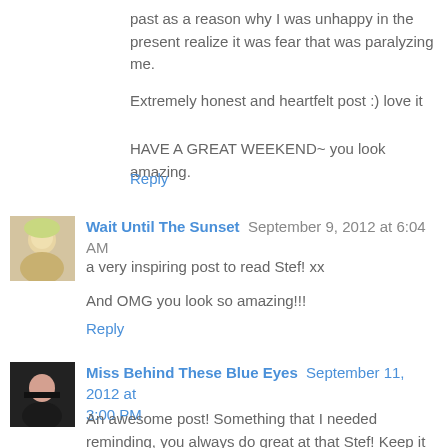past as a reason why I was unhappy in the present realize it was fear that was paralyzing me.
Extremely honest and heartfelt post :) love it
HAVE A GREAT WEEKEND~ you look amazing.
Reply
Wait Until The Sunset  September 9, 2012 at 6:04 AM
a very inspiring post to read Stef! xx
And OMG you look so amazing!!!
Reply
Miss Behind These Blue Eyes  September 11, 2012 at 3:00 PM
An awesome post! Something that I needed reminding, you always do great at that Stef! Keep it up :) xx